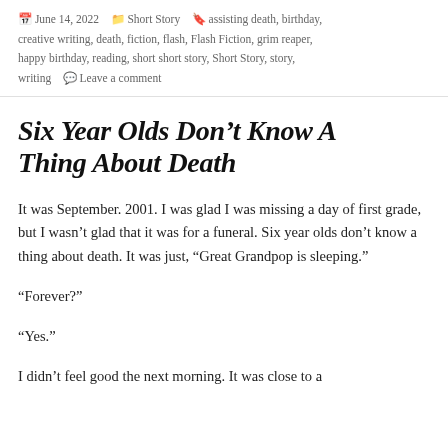June 14, 2022  Short Story  assisting death, birthday, creative writing, death, fiction, flash, Flash Fiction, grim reaper, happy birthday, reading, short short story, Short Story, story, writing  Leave a comment
Six Year Olds Don’t Know A Thing About Death
It was September. 2001. I was glad I was missing a day of first grade, but I wasn’t glad that it was for a funeral. Six year olds don’t know a thing about death. It was just, “Great Grandpop is sleeping.”
“Forever?”
“Yes.”
I didn’t feel good the next morning. It was close to a